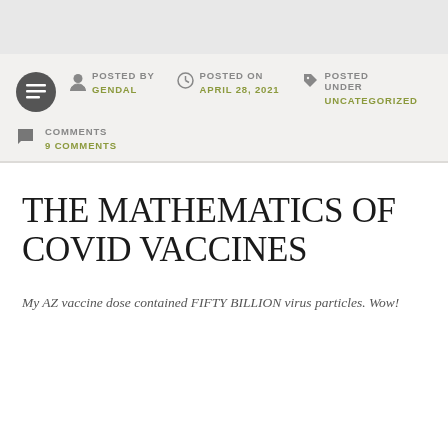POSTED BY GENDAL   POSTED ON APRIL 28, 2021   POSTED UNDER UNCATEGORIZED
COMMENTS 9 COMMENTS
THE MATHEMATICS OF COVID VACCINES
My AZ vaccine dose contained FIFTY BILLION virus particles. Wow!